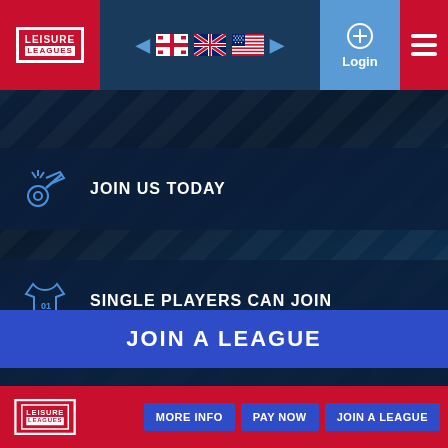[Figure (logo): Leisure Leagues logo - red background with white border box]
[Figure (infographic): Language selector with flags: Georgian, UK, US flags with left/right arrows]
[Figure (infographic): Login icon (circle with plus) and Login text]
[Figure (infographic): Hamburger menu icon (3 white lines on red background)]
JOIN US TODAY
SINGLE PLAYERS CAN JOIN
WORLDS NUMBER 1
JOIN A LEAGUE
[Figure (logo): Leisure Leagues logo bottom left]
MORE INFO
PAY NOW
JOIN A LEAGUE